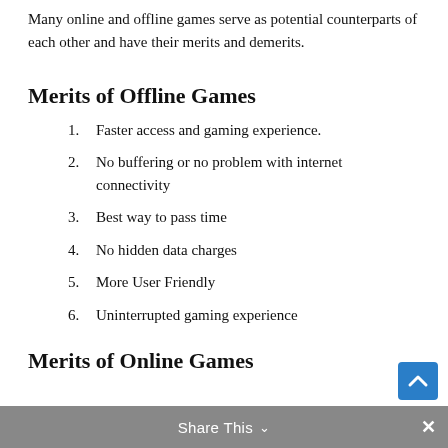Many online and offline games serve as potential counterparts of each other and have their merits and demerits.
Merits of Offline Games
Faster access and gaming experience.
No buffering or no problem with internet connectivity
Best way to pass time
No hidden data charges
More User Friendly
Uninterrupted gaming experience
Merits of Online Games
Share This ∨  ✕